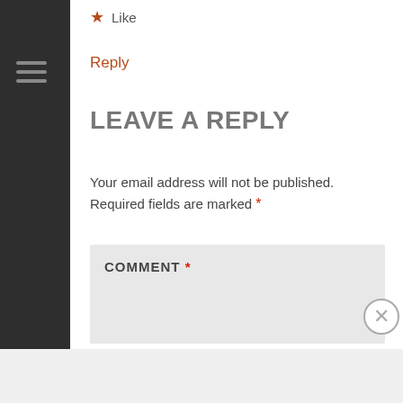stronger Windows Phone eco-system.
★ Like
Reply
LEAVE A REPLY
Your email address will not be published. Required fields are marked *
COMMENT *
[Figure (other): Advertisement banner for Longreads: 'The best stories on the web — ours, and everyone else's.']